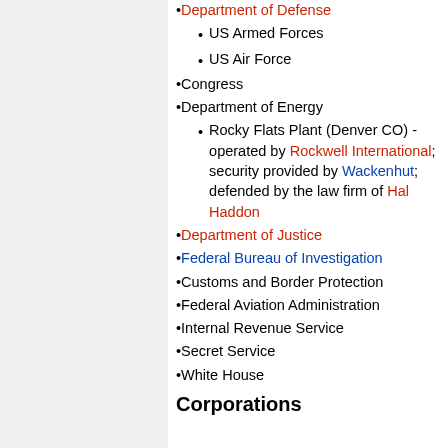Department of Defense
US Armed Forces
US Air Force
Congress
Department of Energy
Rocky Flats Plant (Denver CO) - operated by Rockwell International; security provided by Wackenhut; defended by the law firm of Hal Haddon
Department of Justice
Federal Bureau of Investigation
Customs and Border Protection
Federal Aviation Administration
Internal Revenue Service
Secret Service
White House
Corporations